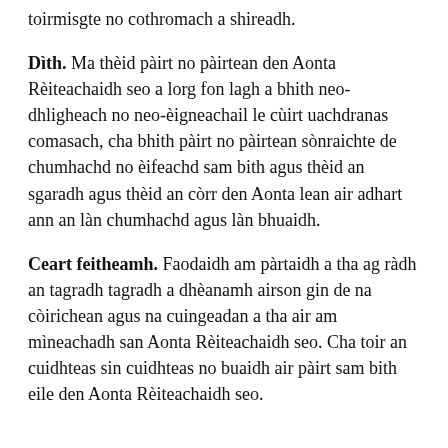toirmisgte no cothromach a shireadh.
Dìth. Ma thèid pàirt no pàirtean den Aonta Rèiteachaidh seo a lorg fon lagh a bhith neo-dhligheach no neo-èigneachail le cùirt uachdranas comasach, cha bhith pàirt no pàirtean sònraichte de chumhachd no èifeachd sam bith agus thèid an sgaradh agus thèid an còrr den Aonta lean air adhart ann an làn chumhachd agus làn bhuaidh.
Ceart feitheamh. Faodaidh am pàrtaidh a tha ag ràdh an tagradh tagradh a dhèanamh airson gin de na còirichean agus na cuingeadan a tha air am mìneachadh san Aonta Rèiteachaidh seo. Cha toir an cuidhteas sin cuidhteas no buaidh air pàirt sam bith eile den Aonta Rèiteachaidh seo.